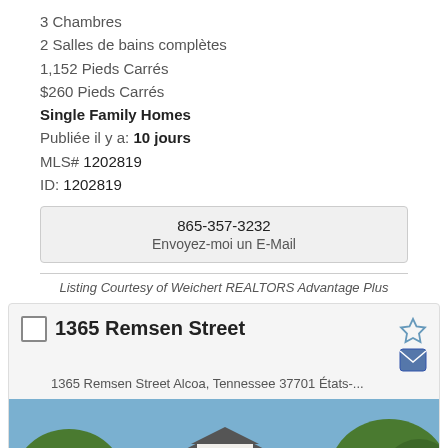3 Chambres
2 Salles de bains complètes
1,152 Pieds Carrés
$260 Pieds Carrés
Single Family Homes
Publiée il y a: 10 jours
MLS# 1202819
ID: 1202819
865-357-3232
Envoyez-moi un E-Mail
Listing Courtesy of Weichert REALTORS Advantage Plus
1365 Remsen Street
1365 Remsen Street Alcoa, Tennessee 37701 États-...
[Figure (photo): Exterior photo of a white single-family home with dark shutters and a dormer, surrounded by green trees]